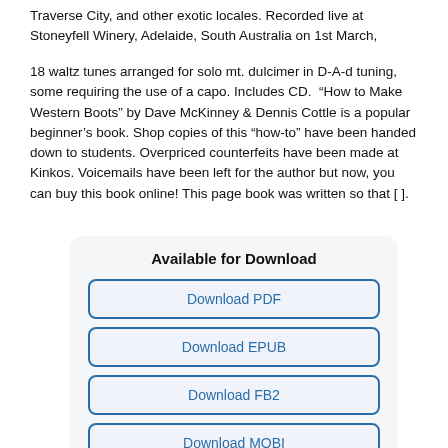Traverse City, and other exotic locales.   Recorded live at Stoneyfell Winery, Adelaide, South Australia on 1st March,
18 waltz tunes arranged for solo mt. dulcimer in D-A-d tuning, some requiring the use of a capo. Includes CD.  “How to Make Western Boots” by Dave McKinney & Dennis Cottle is a popular beginner’s book. Shop copies of this “how-to” have been handed down to students. Overpriced counterfeits have been made at Kinkos. Voicemails have been left for the author but now, you can buy this book online! This page book was written so that [ ].
Available for Download
Download PDF
Download EPUB
Download FB2
Download MOBI
Download TXT